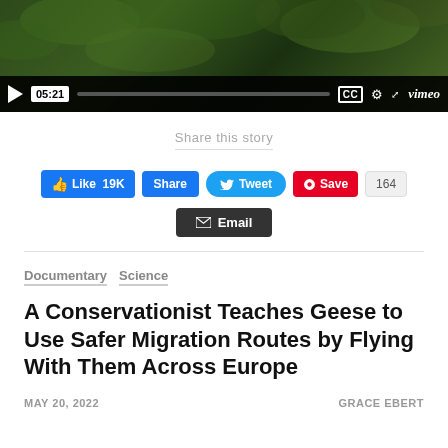[Figure (screenshot): Vimeo video player with green nature background showing playback controls, timestamp 05:21, CC button, settings gear, expand icon, and Vimeo logo]
Share this story
[Figure (screenshot): Social sharing buttons: Like 19K (Facebook), Share (Facebook), Tweet (Twitter), Save (Pinterest) with count 164, and Email button]
Documentary   Science
A Conservationist Teaches Geese to Use Safer Migration Routes by Flying With Them Across Europe
MAY 20, 2022
GRACE EBERT